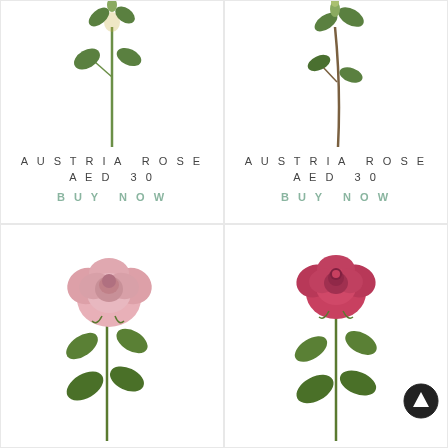[Figure (photo): Austria Rose stem with green leaves and bud, top-left product]
AUSTRIA ROSE
AED 30
BUY NOW
[Figure (photo): Austria Rose stem with green leaves and bud, top-right product]
AUSTRIA ROSE
AED 30
BUY NOW
[Figure (photo): Austria Rose pink full bloom with green leaves and stem, bottom-left product]
[Figure (photo): Austria Rose red/pink full bloom with green leaves and stem, bottom-right product]